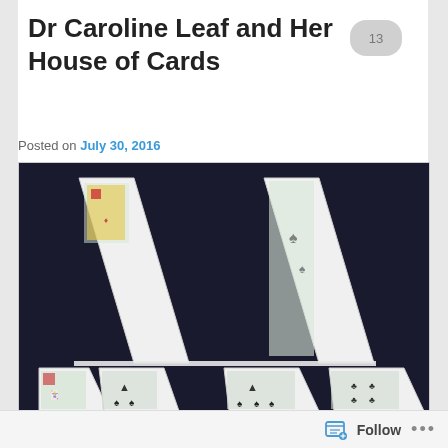Dr Caroline Leaf and Her House of Cards
Posted on July 30, 2016
[Figure (photo): A house of cards built from playing cards on a dark background. The structure shows two levels: an upper arch with a King of Diamonds visible and a spades card, and a lower row with face card, spades, and clubs cards leaning against each other.]
Follow ...